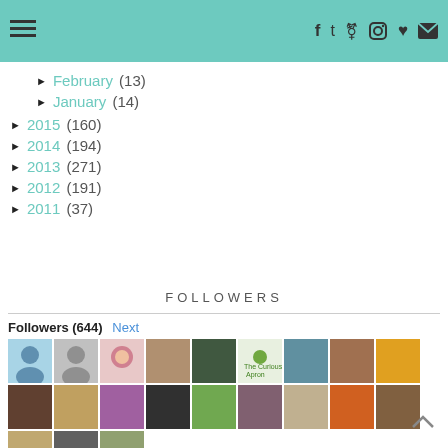≡ [navigation menu] | f t P ◎ ♥ ✉
► February (13)
► January (14)
► 2015 (160)
► 2014 (194)
► 2013 (271)
► 2012 (191)
► 2011 (37)
FOLLOWERS
Followers (644) Next
[Figure (other): Grid of follower avatar thumbnails showing approximately 21 profile pictures in 3 rows of 9 avatars each]